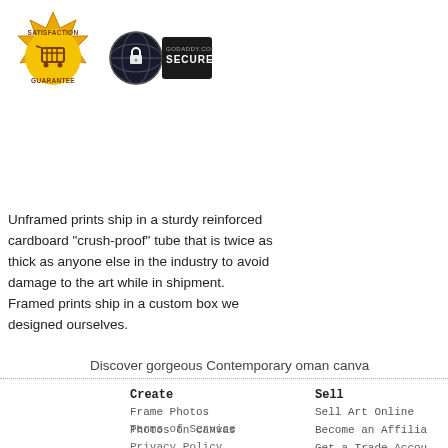[Figure (logo): Satisfaction Guarantee gold badge with shopping cart icon]
[Figure (logo): GoDaddy.com Secured badge with globe/lock icon]
Unframed prints ship in a sturdy reinforced cardboard "crush-proof" tube that is twice as thick as anyone else in the industry to avoid damage to the art while in shipment. Framed prints ship in a custom box we designed ourselves.
Discover gorgeous Contemporary oman canva
Create
Frame Photos
Photos on Canvas
Sell
Sell Art Online
Become an Affilia
Get a Trade Accou
Common Questio
Terms of Service
Privacy Policy
Copyright © 2022